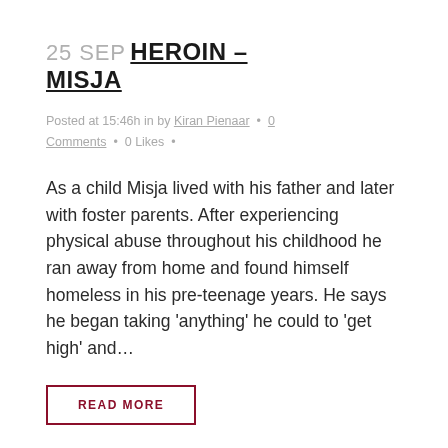25 SEP HEROIN – MISJA
Posted at 15:46h in by Kiran Pienaar • 0 Comments • 0 Likes •
As a child Misja lived with his father and later with foster parents. After experiencing physical abuse throughout his childhood he ran away from home and found himself homeless in his pre-teenage years. He says he began taking 'anything' he could to 'get high' and…
READ MORE